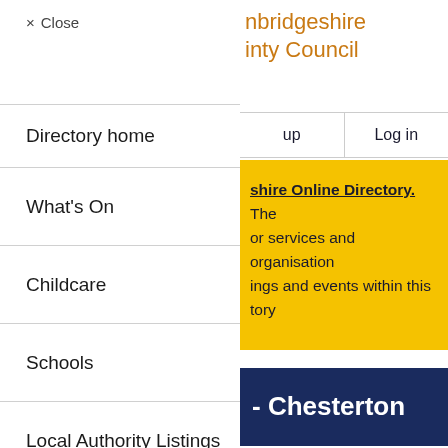× Close  nbridgeshire inty Council
Directory home
up   Log in
What's On
shire Online Directory. The or services and organisation ings and events within this tory
Childcare
Schools
- Chesterton
Local Authority Listings
Community Listings
y Centre - Cambridge City,